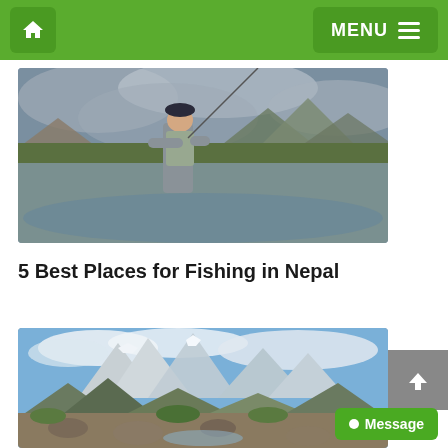Home | MENU
[Figure (photo): A man in fishing gear holding a fly fishing rod, standing near a mountain river with dramatic cloudy sky in the background]
5 Best Places for Fishing in Nepal
[Figure (photo): A mountain landscape with rocky terrain, a stream, green shrubs, and snow-capped peaks under a blue sky with clouds]